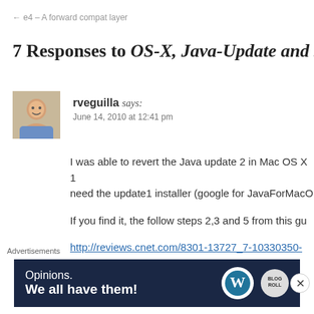← e4 – A forward compat layer
7 Responses to OS-X, Java-Update and su
rveguilla says:
June 14, 2010 at 12:41 pm
I was able to revert the Java update 2 in Mac OS X 1 need the update1 installer (google for JavaForMacO
If you find it, the follow steps 2,3 and 5 from this gu
http://reviews.cnet.com/8301-13727_7-10330350-
And remove the /System/Library/Frameworks/Ja
Advertisements
[Figure (infographic): WordPress advertisement banner: 'Opinions. We all have them!' with WordPress and WP logos on dark navy background]